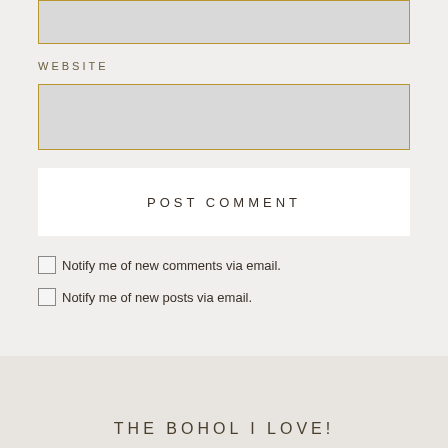[input field - top, partial]
WEBSITE
[website input field]
POST COMMENT
Notify me of new comments via email.
Notify me of new posts via email.
THE BOHOL I LOVE!